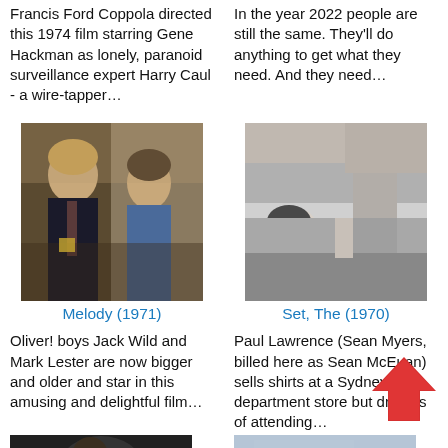Francis Ford Coppola directed this 1974 film starring Gene Hackman as lonely, paranoid surveillance expert Harry Caul - a wire-tapper…
In the year 2022 people are still the same. They'll do anything to get what they need. And they need…
[Figure (photo): Color photo of two young actors from the 1971 film Melody - a boy and a girl in school uniforms]
Melody (1971)
[Figure (photo): Black and white photo of two people from the 1970 film Set, The]
Set, The (1970)
Oliver! boys Jack Wild and Mark Lester are now bigger and older and star in this amusing and delightful film…
Paul Lawrence (Sean Myers, billed here as Sean McEuan) sells shirts at a Sydney department store but dreams of attending…
[Figure (photo): Dark colored photo thumbnail at bottom left]
[Figure (photo): Light grayish-blue photo thumbnail at bottom right]